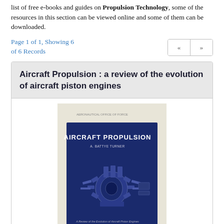list of free e-books and guides on Propulsion Technology, some of the resources in this section can be viewed online and some of them can be downloaded.
Page 1 of 1, Showing 6 of 6 Records
Aircraft Propulsion : a review of the evolution of aircraft piston engines
[Figure (photo): Book cover of 'Aircraft Propulsion' showing a dark navy blue cover with an illustration of an aircraft piston engine and the title text 'AIRCRAFT PROPULSION' with subtitle 'A review of the Evolution of Aircraft Piston Engines'.]